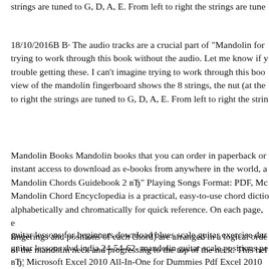strings are tuned to G, D, A, E. From left to right the strings are tune...
18/10/2016B B· The audio tracks are a crucial part of "Mandolin for... trying to work through this book without the audio. Let me know if y... trouble getting these. I can't imagine trying to work through this boo... view of the mandolin fingerboard shows the 8 strings, the nut (at the... to right the strings are tuned to G, D, A, E. From left to right the strin...
Mandolin Books Mandolin books that you can order in paperback or... instant access to download as e-books from anywhere in the world, a... Mandolin Chords Guidebook 2 вЂ" Playing Songs Format: PDF, Mc... Mandolin Chord Encyclopedia is a practical, easy-to-use chord dictio... alphabetically and chromatically for quick reference. On each page, e... fingerings and positions of each chord) are arranged in a logical orde... of the mandolin neck and progressing to the top of the neck. This hel...
guitar lessons for beginners download blues scale guitar exercise dur... guitar lessons dvd india 24-54-62- mandolin guitar scale positions pe... вЂ¦ Microsoft Excel 2010 All-In-One for Dummies Pdf Excel 2010 A... brings together simple and easy information on utilizing all facets of...